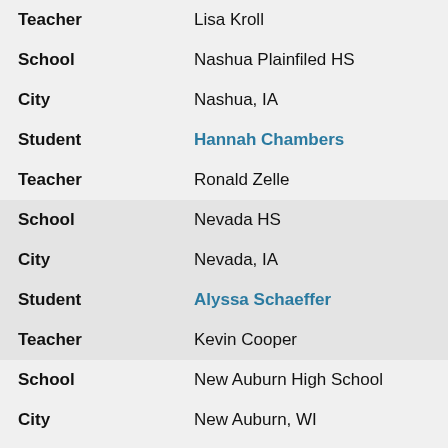| Field | Value |
| --- | --- |
| Teacher | Lisa Kroll |
| School | Nashua Plainfiled HS |
| City | Nashua, IA |
| Student | Hannah Chambers |
| Teacher | Ronald Zelle |
| School | Nevada HS |
| City | Nevada, IA |
| Student | Alyssa Schaeffer |
| Teacher | Kevin Cooper |
| School | New Auburn High School |
| City | New Auburn, WI |
| Student | Mason Kollwitz |
| Teacher | Carie Kollwitz |